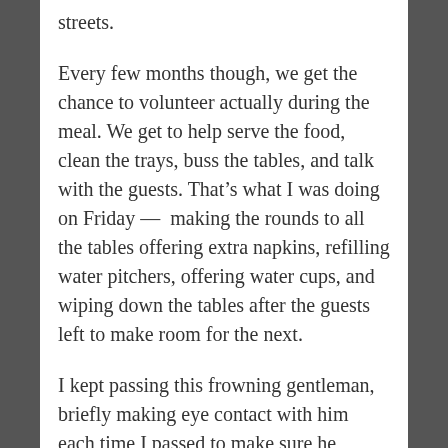streets.
Every few months though, we get the chance to volunteer actually during the meal. We get to help serve the food, clean the trays, buss the tables, and talk with the guests. That’s what I was doing on Friday — making the rounds to all the tables offering extra napkins, refilling water pitchers, offering water cups, and wiping down the tables after the guests left to make room for the next.
I kept passing this frowning gentleman, briefly making eye contact with him each time I passed to make sure he wasn’t needing napkins or a cup or anything. He never motioned for anything, just kept watching.
As I made my way around the room, I was at ease. This is one of the few types of places where I feel at my prime. My mouth was tired from smiling so wide. I